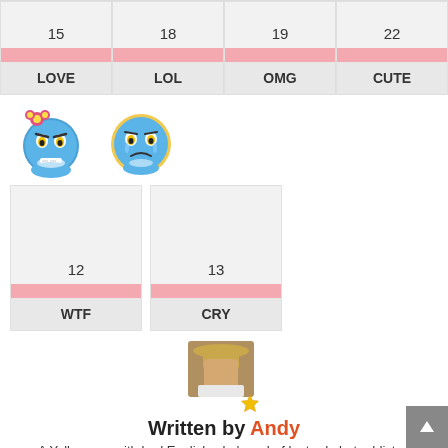| 15 | 18 | 19 | 22 |
| --- | --- | --- | --- |
| LOVE | LOL | OMG | CUTE |
[Figure (illustration): Blue cartoon monster emoji with flower, angry expression, labeled WTF]
[Figure (illustration): Blue cartoon monster emoji crying, labeled CRY]
| 12 | 13 |
| --- | --- |
| WTF | CRY |
[Figure (photo): Author profile photo with star badge overlay]
Written by Andy
A Yellow guy with bad English who's a chef by trade but addicted